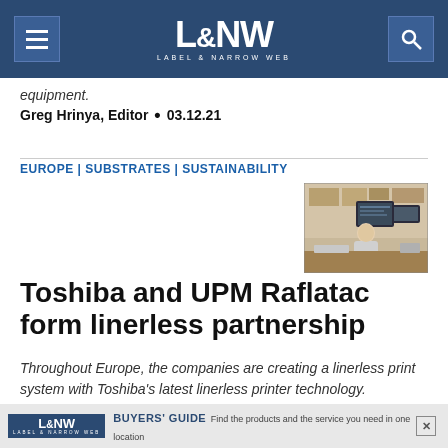L&NW Label & Narrow Web
equipment.
Greg Hrinya, Editor • 03.12.21
EUROPE | SUBSTRATES | SUSTAINABILITY
[Figure (photo): A person sitting at a desk with multiple monitors in a warehouse/office environment]
Toshiba and UPM Raflatac form linerless partnership
Throughout Europe, the companies are creating a linerless print system with Toshiba's latest linerless printer technology.
[Figure (other): L&NW Buyers Guide advertisement banner: Find the products and the service you need in one location]